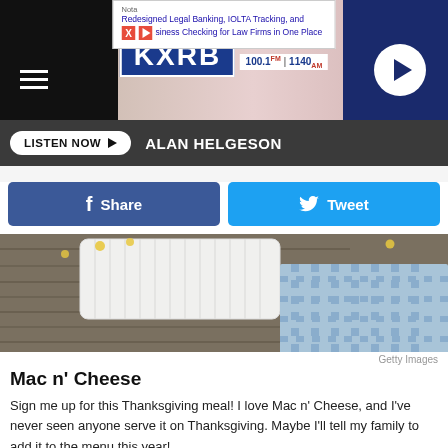[Figure (screenshot): Ad banner for Nota legal banking services - Redesigned Legal Banking, IOLTA Tracking, and Business Checking for Law Firms in One Place]
[Figure (logo): KXRB Radio station header - Real Country Variety, KXRB 100.1 FM | 1140 AM, with hamburger menu and play button]
LISTEN NOW ▶ ALAN HELGESON
[Figure (screenshot): Facebook Share button and Twitter Tweet button]
[Figure (photo): Close-up photo of mac and cheese in a white baking dish on a wooden surface with blue cloth, Getty Images]
Getty Images
Mac n' Cheese
Sign me up for this Thanksgiving meal! I love Mac n' Cheese, and I've never seen anyone serve it on Thanksgiving. Maybe I'll tell my family to add it to the menu this year!